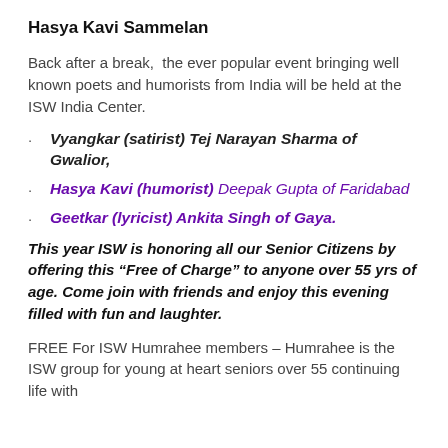Hasya Kavi Sammelan
Back after a break,  the ever popular event bringing well known poets and humorists from India will be held at the ISW India Center.
Vyangkar (satirist) Tej Narayan Sharma of Gwalior,
Hasya Kavi (humorist) Deepak Gupta of Faridabad
Geetkar (lyricist) Ankita Singh of Gaya.
This year ISW is honoring all our Senior Citizens by offering this “Free of Charge” to anyone over 55 yrs of age. Come join with friends and enjoy this evening filled with fun and laughter.
FREE For ISW Humrahee members – Humrahee is the ISW group for young at heart seniors over 55 continuing life with